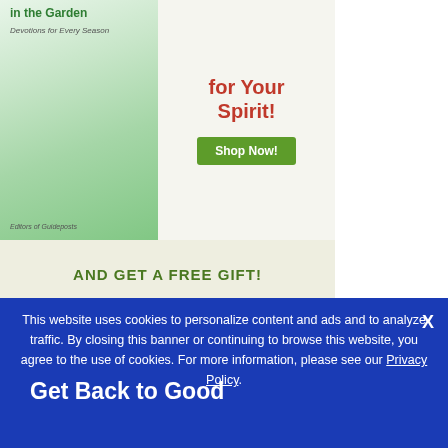[Figure (illustration): Advertisement banner showing a book titled 'in the Garden Devotions for Every Season' with green plant illustrations, text 'for Your Spirit!' in red, a green 'Shop Now!' button, and 'AND GET A FREE GIFT!' text at the bottom of the banner.]
Related Videos
This website uses cookies to personalize content and ads and to analyze traffic. By closing this banner or continuing to browse this website, you agree to the use of cookies. For more information, please see our Privacy Policy.
Get Back to Good